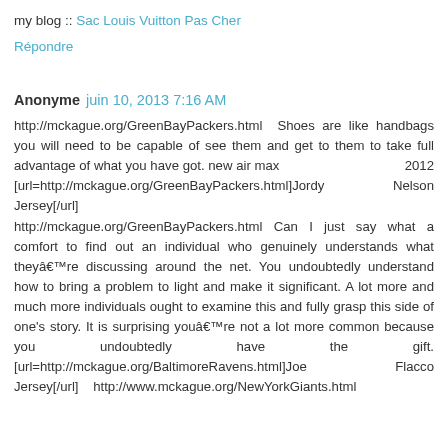my blog :: Sac Louis Vuitton Pas Cher
Répondre
Anonyme juin 10, 2013 7:16 AM
http://mckague.org/GreenBayPackers.html  Shoes are like handbags you will need to be capable of see them and get to them to take full advantage of what you have got. new air max                                                    2012 [url=http://mckague.org/GreenBayPackers.html]Jordy Nelson Jersey[/url] http://mckague.org/GreenBayPackers.html Can I just say what a comfort to find out an individual who genuinely understands what theyâ€™re discussing around the net. You undoubtedly understand how to bring a problem to light and make it significant. A lot more and much more individuals ought to examine this and fully grasp this side of one's story. It is surprising youâ€™re not a lot more common because you undoubtedly have the gift. [url=http://mckague.org/BaltimoreRavens.html]Joe Flacco Jersey[/url]    http://www.mckague.org/NewYorkGiants.html